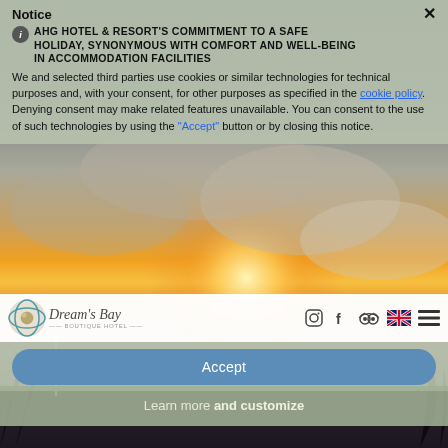[Figure (screenshot): Sunset/cloudy sky background photo behind the hotel website with golden and grey tones]
Notice
AHG HOTEL & RESORT'S COMMITMENT TO A SAFE HOLIDAY, SYNONYMOUS WITH COMFORT AND WELL-BEING IN ACCOMMODATION FACILITIES
We and selected third parties use cookies or similar technologies for technical purposes and, with your consent, for other purposes as specified in the cookie policy. Denying consent may make related features unavailable. You can consent to the use of such technologies by using the "Accept" button or by closing this notice.
[Figure (logo): Dream's Bay Boutique Hotel logo with circular globe icon]
Accept
Learn more and customize